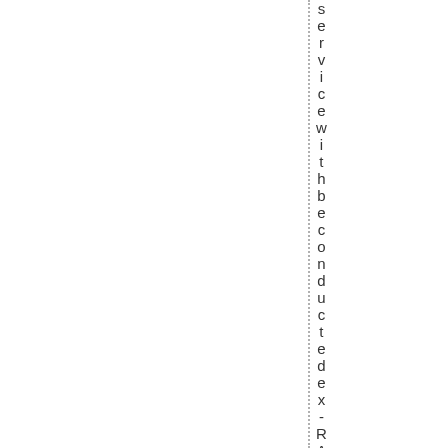servicewithbeconducteddex-RAFsq